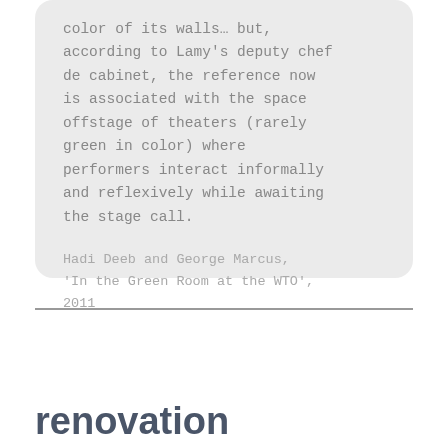color of its walls… but, according to Lamy's deputy chef de cabinet, the reference now is associated with the space offstage of theaters (rarely green in color) where performers interact informally and reflexively while awaiting the stage call.
Hadi Deeb and George Marcus, 'In the Green Room at the WTO', 2011
renovation